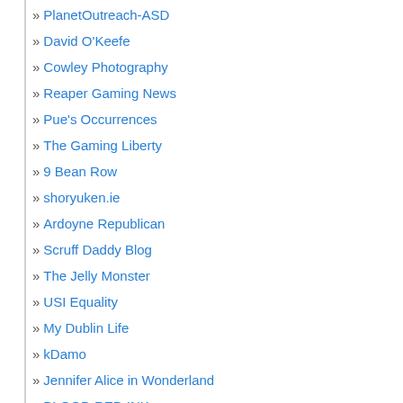» PlanetOutreach-ASD
» David O'Keefe
» Cowley Photography
» Reaper Gaming News
» Pue's Occurrences
» The Gaming Liberty
» 9 Bean Row
» shoryuken.ie
» Ardoyne Republican
» Scruff Daddy Blog
» The Jelly Monster
» USI Equality
» My Dublin Life
» kDamo
» Jennifer Alice in Wonderland
» BLOOD RED INK
» Laura McGonigle
» Shower of Kunst